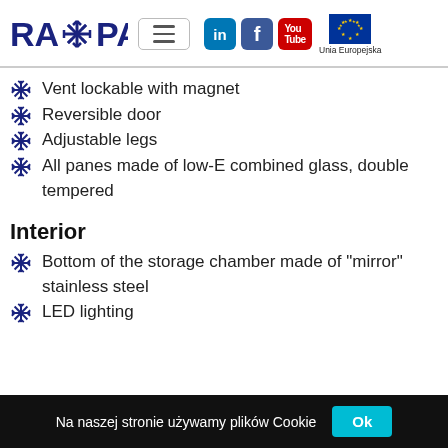RAPA [logo with snowflake] | hamburger menu | LinkedIn, Facebook, YouTube social icons | Unia Europejska EU flag
Vent lockable with magnet
Reversible door
Adjustable legs
All panes made of low-E combined glass, double tempered
Interior
Bottom of the storage chamber made of "mirror" stainless steel
LED lighting
Na naszej stronie używamy plików Cookie  Ok